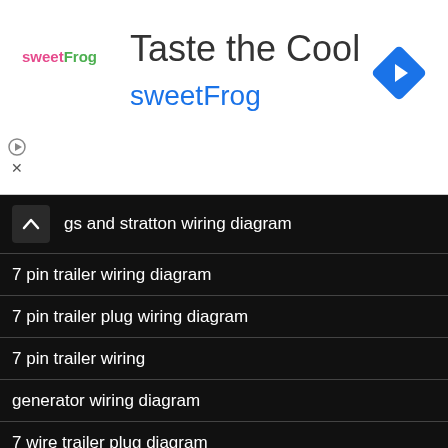[Figure (infographic): sweetFrog advertisement banner with logo, 'Taste the Cool' headline, brand name, navigation icon, and ad controls]
gs and stratton wiring diagram
7 pin trailer wiring diagram
7 pin trailer plug wiring diagram
7 pin trailer wiring
generator wiring diagram
7 wire trailer plug diagram
craftsman lt2000 wiring diagram
photocell wiring diagram
bbb industries wiring diagrams